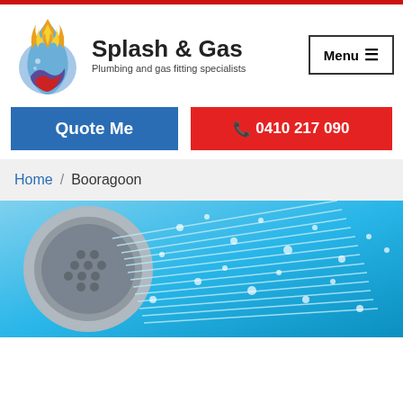[Figure (logo): Splash & Gas company logo with flame and water drop icon, company name and tagline 'Plumbing and gas fitting specialists']
Menu ☰
Quote Me
📞 0410 217 090
Home / Booragoon
[Figure (photo): Close-up photo of a shower head with water droplets streaming out, blue aqua background]